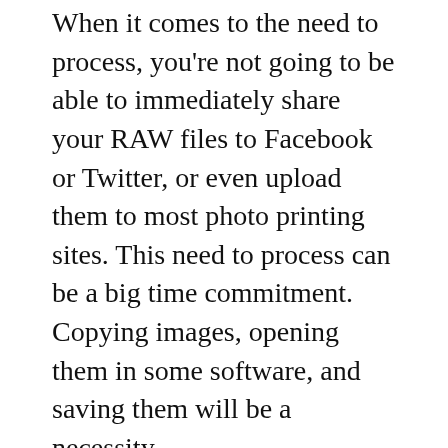When it comes to the need to process, you're not going to be able to immediately share your RAW files to Facebook or Twitter, or even upload them to most photo printing sites. This need to process can be a big time commitment. Copying images, opening them in some software, and saving them will be a necessity.
Most cameras provide a “best of both worlds” option by allowing you to shoot duplicate copies of RAW and JPEG images. This would of course fill your memory card even quicker, but does give you quick JPEG copies to work with if need be.
Advice